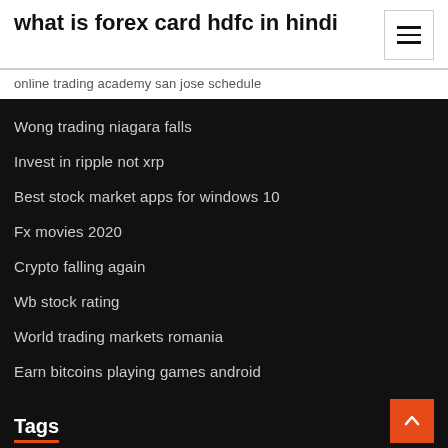what is forex card hdfc in hindi
online trading academy san jose schedule
Wong trading niagara falls
Invest in ripple not xrp
Best stock market apps for windows 10
Fx movies 2020
Crypto falling again
Wb stock rating
World trading markets romania
Earn bitcoins playing games android
Tags